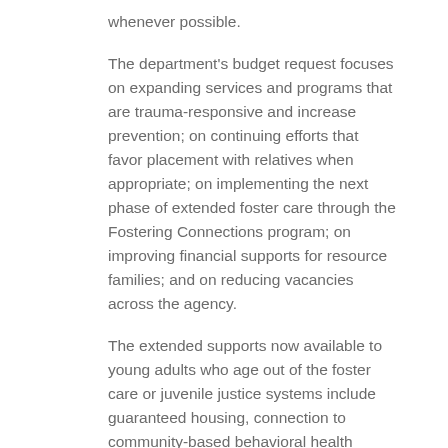whenever possible.
The department's budget request focuses on expanding services and programs that are trauma-responsive and increase prevention; on continuing efforts that favor placement with relatives when appropriate; on implementing the next phase of extended foster care through the Fostering Connections program; on improving financial supports for resource families; and on reducing vacancies across the agency.
The extended supports now available to young adults who age out of the foster care or juvenile justice systems include guaranteed housing, connection to community-based behavioral health supports, job assistance, food access, and money for college.